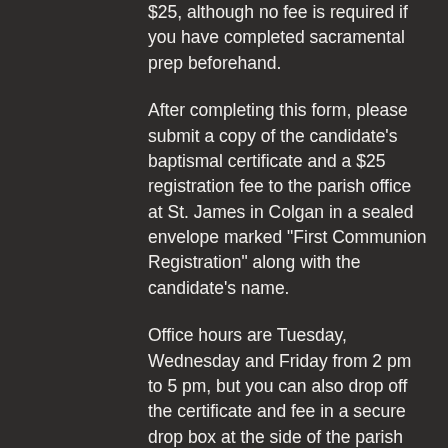$25, although no fee is required if you have completed sacramental prep beforehand.
After completing this form, please submit a copy of the candidate’s baptismal certificate and a $25 registration fee to the parish office at St. James in Colgan in a sealed envelope marked “First Communion Registration” along with the candidate’s name.
Office hours are Tuesday, Wednesday and Friday from 2 pm to 5 pm, but you can also drop off the certificate and fee in a secure drop box at the side of the parish office.
If you were baptized at St. James, St. Mary’s or St. Francis Xavier, please contact the parish office at stjamesco@archtoronto.org or 905-936-4266 to let us know approximately when